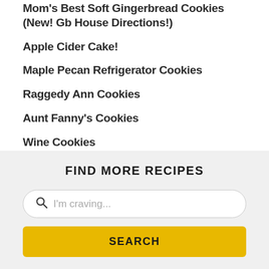Mom's Best Soft Gingerbread Cookies (New! Gb House Directions!)
Apple Cider Cake!
Maple Pecan Refrigerator Cookies
Raggedy Ann Cookies
Aunt Fanny's Cookies
Wine Cookies
Light Ginger Cookies
Sally Ann Cookies
FIND MORE RECIPES
I'm craving...
SEARCH